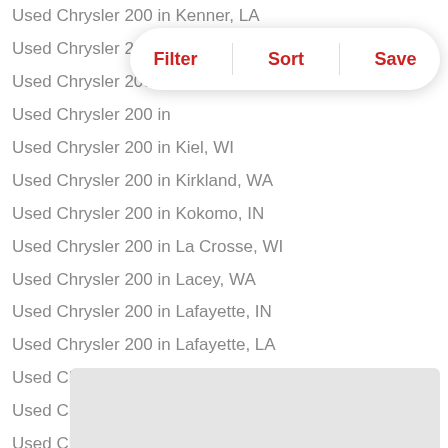Used Chrysler 200 in Kenner, LA
Used Chrysler 200 in Kennewick, WA
Used Chrysler 200 in [partially obscured]
Used Chrysler 200 in [partially obscured]
Used Chrysler 200 in Kiel, WI
Used Chrysler 200 in Kirkland, WA
Used Chrysler 200 in Kokomo, IN
Used Chrysler 200 in La Crosse, WI
Used Chrysler 200 in Lacey, WA
Used Chrysler 200 in Lafayette, IN
Used Chrysler 200 in Lafayette, LA
Used Chrysler 200 in Lake Charles, LA
Used Chrysler 200 in Lake Geneva, WI
Used Chrysler 200 in Lake Mills, WI
Used Chrysler 200 in Lake Ridge, VA
Used Chrysler 200 in Lakeview, MI
Used Chrysler 200 in Lakewood, WA
Used Chrysler 200 in Laurel, MS
Used Chrysler 200 in Lawrence, IN
Used Chrysler 200 in Lawton, OK